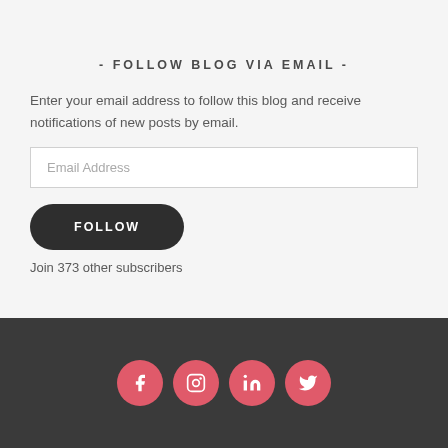- FOLLOW BLOG VIA EMAIL -
Enter your email address to follow this blog and receive notifications of new posts by email.
Join 373 other subscribers